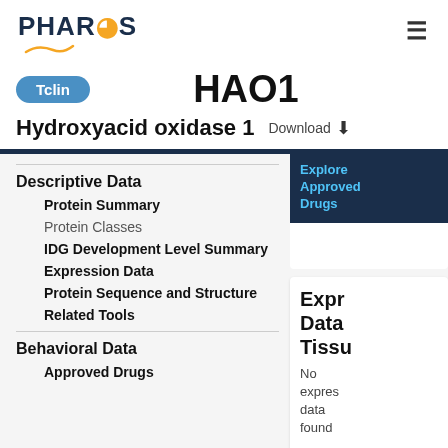PHAROS
HAO1
Tclin
Hydroxyacid oxidase 1  Download
Descriptive Data
Protein Summary
Protein Classes
IDG Development Level Summary
Expression Data
Protein Sequence and Structure
Related Tools
Behavioral Data
Approved Drugs
Explore Approved Drugs
Expression Data Tissue No expression data found